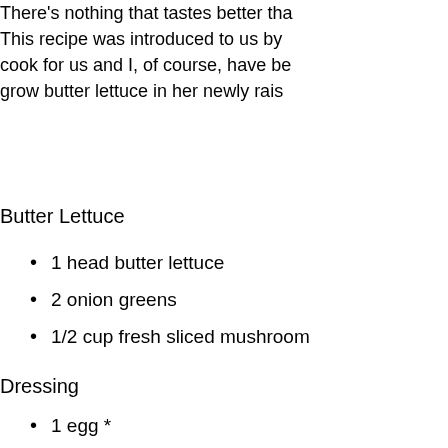There's nothing that tastes better tha... This recipe was introduced to us by... cook for us and I, of course, have be... grow butter lettuce in her newly rais...
Butter Lettuce
1 head butter lettuce
2 onion greens
1/2 cup fresh sliced mushroom
Dressing
1 egg *
1 teaspoon mustard
1/2 cup whipping cream
1/2 teaspoon salt
3 tablespoon lemon juice
3 tablespoon oil
Instruction.
Wash and clean your butter le...